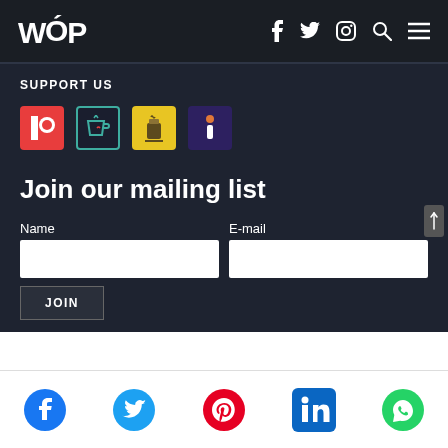WOP
SUPPORT US
[Figure (infographic): Four support platform icons: Patreon (red), Ko-fi (teal border), Buy Me a Coffee (yellow), and an info/Informate (purple) icon]
Join our mailing list
Name
E-mail
JOIN
Social share icons: Facebook, Twitter, Pinterest, LinkedIn, WhatsApp